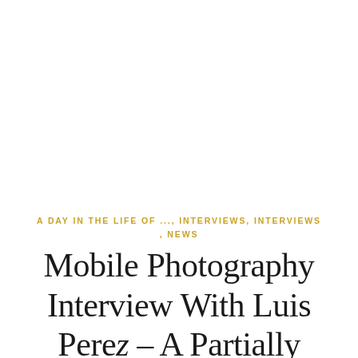A DAY IN THE LIFE OF ..., INTERVIEWS, INTERVIEWS , NEWS
Mobile Photography Interview With Luis Perez – A Partially Sighted, Apple Distinguished